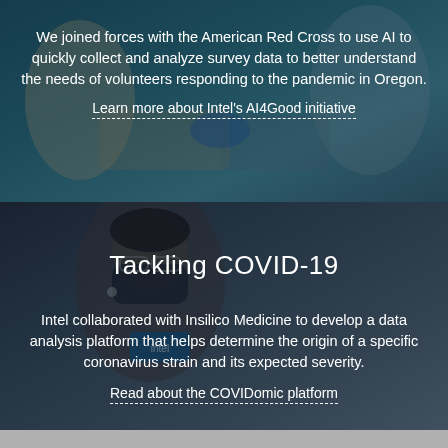[Figure (photo): Photo of people handing boxes, volunteer scene with teal/blue overlay background]
We joined forces with the American Red Cross to use AI to quickly collect and analyze survey data to better understand the needs of volunteers responding to the pandemic in Oregon.
Learn more about Intel's AI4Good initiative
[Figure (photo): Photo of a woman wearing a face mask and glasses, dark overlay, Intel branding visible]
Tackling COVID-19
Intel collaborated with Insilico Medicine to develop a data analysis platform that helps determine the origin of a specific coronavirus strain and its expected severity.
Read about the COVIDomic platform